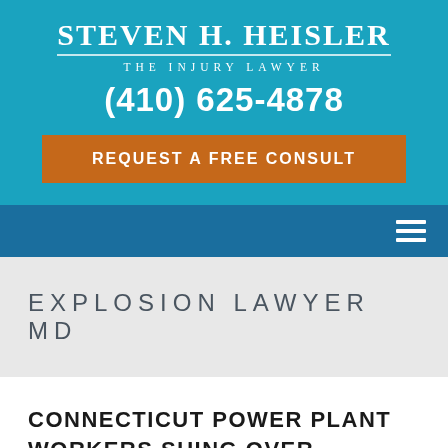STEVEN H. HEISLER
THE INJURY LAWYER
(410) 625-4878
REQUEST A FREE CONSULT
EXPLOSION LAWYER MD
CONNECTICUT POWER PLANT WORKERS SUING OVER INJURIES SUSTAINED DURING EXPLOSION